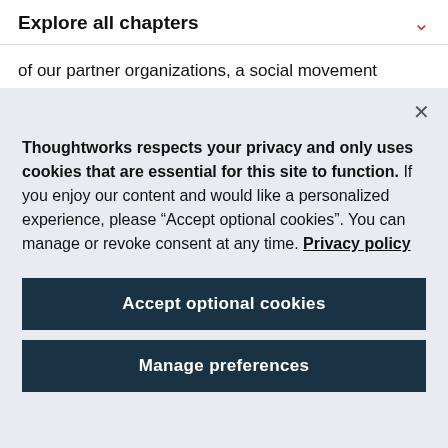Explore all chapters
of our partner organizations, a social movement concerned with refugee support, can now keep track
Thoughtworks respects your privacy and only uses cookies that are essential for this site to function. If you enjoy our content and would like a personalized experience, please “Accept optional cookies”. You can manage or revoke consent at any time. Privacy policy
Accept optional cookies
Manage preferences